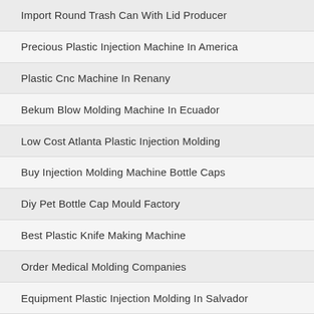Import Round Trash Can With Lid Producer
Precious Plastic Injection Machine In America
Plastic Cnc Machine In Renany
Bekum Blow Molding Machine In Ecuador
Low Cost Atlanta Plastic Injection Molding
Buy Injection Molding Machine Bottle Caps
Diy Pet Bottle Cap Mould Factory
Best Plastic Knife Making Machine
Order Medical Molding Companies
Equipment Plastic Injection Molding In Salvador